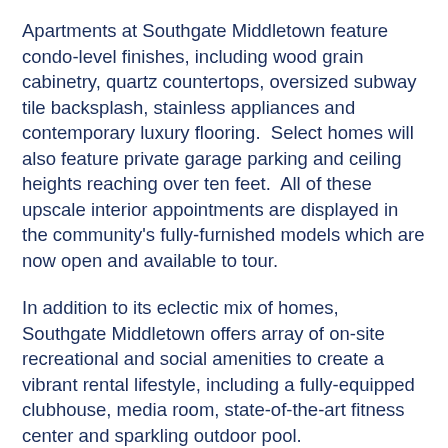Apartments at Southgate Middletown feature condo-level finishes, including wood grain cabinetry, quartz countertops, oversized subway tile backsplash, stainless appliances and contemporary luxury flooring.  Select homes will also feature private garage parking and ceiling heights reaching over ten feet.  All of these upscale interior appointments are displayed in the community's fully-furnished models which are now open and available to tour.
In addition to its eclectic mix of homes, Southgate Middletown offers array of on-site recreational and social amenities to create a vibrant rental lifestyle, including a fully-equipped clubhouse, media room, state-of-the-art fitness center and sparkling outdoor pool.
Located near Interstate 84 and minutes from Route 17 and US 6, Southgate provides easy access to many of the area's major business centers, including the nearby Orange